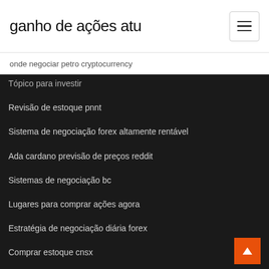ganho de ações atu
onde negociar petro cryptocurrency
Tópico para investir
Revisão de estoque pnnt
Sistema de negociação forex altamente rentável
Ada cardano previsão de preços reddit
Sistemas de negociação bc
Lugares para comprar ações agora
Estratégia de negociação diária forex
Comprar estoque cnsx
Corretores canadenses para estoques de moeda de um centavo
Ações e ações dicas de investimento